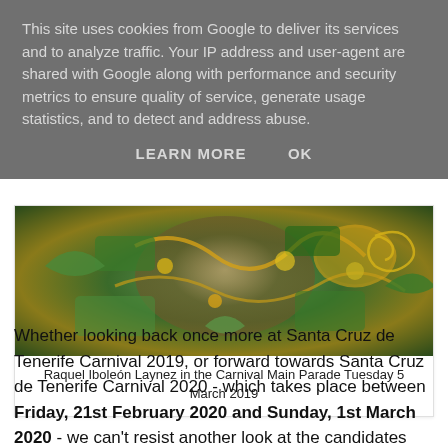This site uses cookies from Google to deliver its services and to analyze traffic. Your IP address and user-agent are shared with Google along with performance and security metrics to ensure quality of service, generate usage statistics, and to detect and address abuse.
LEARN MORE   OK
[Figure (photo): Close-up photo of Raquel Iboleón Laynez in elaborate carnival costume with green and gold sequined decorative elements]
Raquel Iboleón Laynez in the Carnival Main Parade Tuesday 5 March 2019
Whether looking back once more at Santa Cruz de Tenerife Carnival 2019, or forward towards Santa Cruz de Tenerife Carnival 2020 - which takes place between Friday, 21st February 2020 and Sunday, 1st March 2020 - we can't resist another look at the candidates who aspired to become carnival queens in 2019.